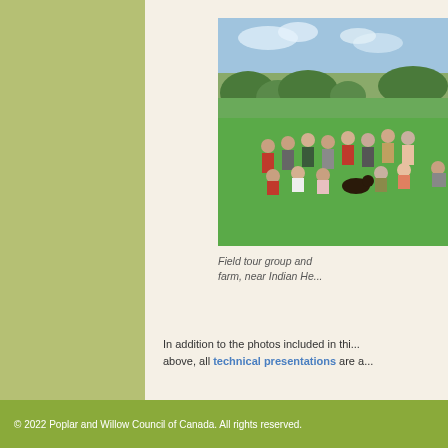[Figure (photo): Group photo of field tour participants standing and kneeling in a grassy field near bushes and rolling hills under a partly cloudy sky, near Indian Head.]
Field tour group and farm, near Indian He...
In addition to the photos included in thi... above, all technical presentations are a...
© 2022 Poplar and Willow Council of Canada. All rights reserved.